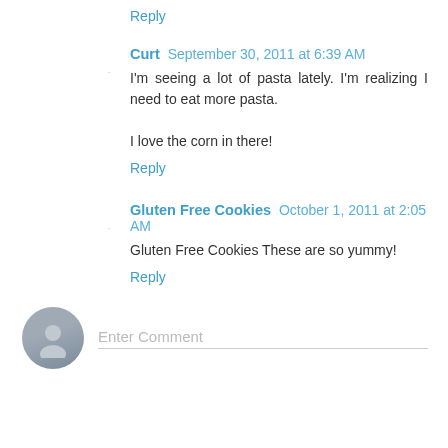Reply
Curt September 30, 2011 at 6:39 AM
I'm seeing a lot of pasta lately. I'm realizing I need to eat more pasta.

I love the corn in there!
Reply
Gluten Free Cookies October 1, 2011 at 2:05 AM
Gluten Free Cookies These are so yummy!
Reply
Enter Comment